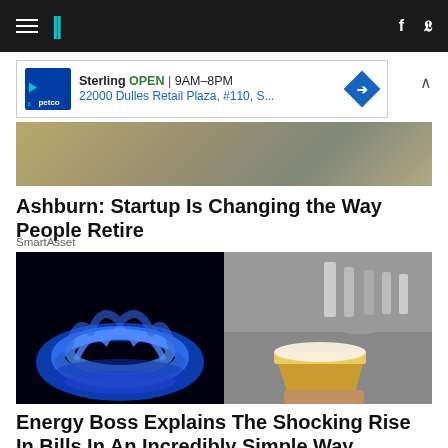HuffPost navigation header with hamburger menu, logo, Facebook and Twitter icons
[Figure (other): Petco advertisement banner: Sterling OPEN 9AM-8PM, 22000 Dulles Retail Plaza, #110, S...]
[Figure (photo): Cropped image showing people's legs/lower bodies at an event]
Ashburn: Startup Is Changing the Way People Retire
SmartAsset
[Figure (photo): Split image: left side shows blue gas flame on black background; right side shows beer tap with hand holding a glass of beer]
Energy Boss Explains The Shocking Rise In Bills In An Incredibly Simple Way